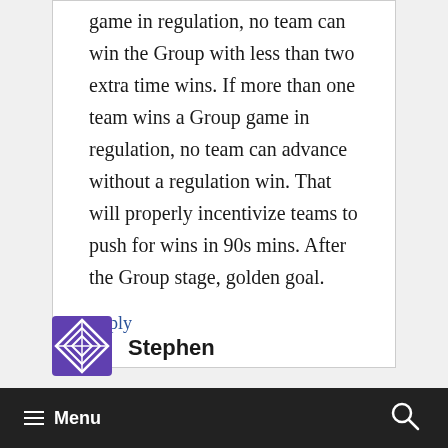game in regulation, no team can win the Group with less than two extra time wins. If more than one team wins a Group game in regulation, no team can advance without a regulation win. That will properly incentivize teams to push for wins in 90s mins. After the Group stage, golden goal.
Reply
[Figure (illustration): Purple geometric avatar icon]
Stephen
Menu [search icon]